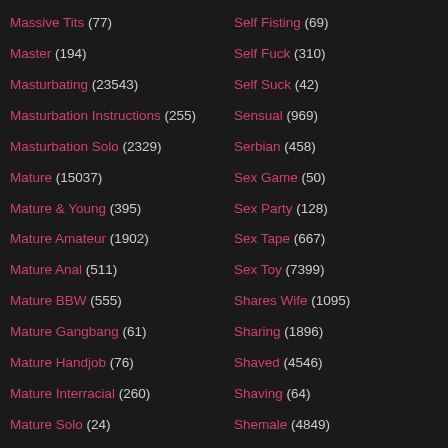Massive Tits (77)
Master (194)
Masturbating (23543)
Masturbation Instructions (255)
Masturbation Solo (2329)
Mature (15037)
Mature & Young (395)
Mature Amateur (1902)
Mature Anal (511)
Mature BBW (555)
Mature Gangbang (61)
Mature Handjob (76)
Mature Interracial (260)
Mature Solo (24)
Mature Teacher (16)
Self Fisting (69)
Self Fuck (310)
Self Suck (42)
Sensual (969)
Serbian (458)
Sex Game (50)
Sex Party (128)
Sex Tape (667)
Sex Toy (7399)
Shares Wife (1095)
Sharing (1896)
Shaved (4546)
Shaving (64)
Shemale (4849)
Shemale Amateur (2156)